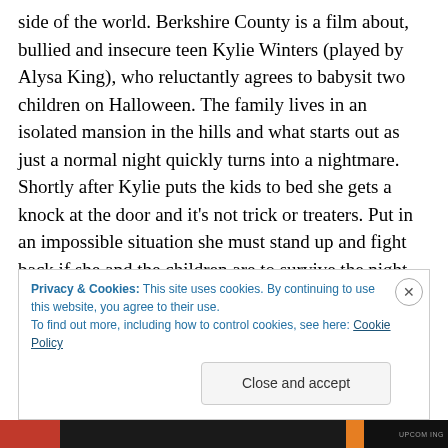side of the world. Berkshire County is a film about, bullied and insecure teen Kylie Winters (played by Alysa King), who reluctantly agrees to babysit two children on Halloween. The family lives in an isolated mansion in the hills and what starts out as just a normal night quickly turns into a nightmare. Shortly after Kylie puts the kids to bed she gets a knock at the door and it's not trick or treaters. Put in an impossible situation she must stand up and fight back if she and the children are to survive the night. The film also stars Madison Ferguson, Cristophe Gallander. Samora Smallwood and Aaaron Chartrand.
Privacy & Cookies: This site uses cookies. By continuing to use this website, you agree to their use. To find out more, including how to control cookies, see here: Cookie Policy
Close and accept